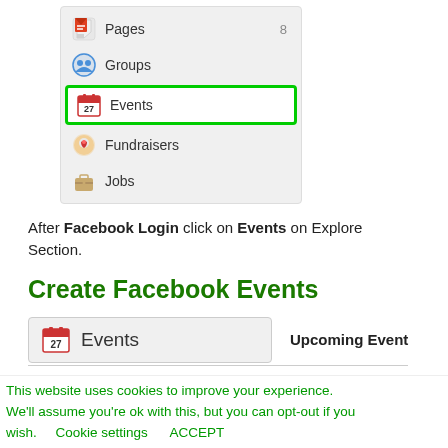[Figure (screenshot): Facebook Explore sidebar showing Pages (with badge 8), Groups, Events (highlighted with green border), Fundraisers, and Jobs menu items with icons]
After Facebook Login click on Events on Explore Section.
Create Facebook Events
[Figure (screenshot): Facebook Events bar showing calendar icon with '27' and 'Events' label, alongside 'Upcoming Event' label]
This website uses cookies to improve your experience. We'll assume you're ok with this, but you can opt-out if you wish.    Cookie settings    ACCEPT